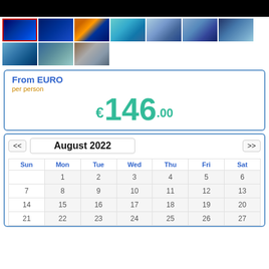[Figure (photo): Dark banner photo strip at top]
[Figure (photo): Gallery of travel/ocean thumbnail images in two rows, first image selected with red border]
From EURO
per person
€146.00
| Sun | Mon | Tue | Wed | Thu | Fri | Sat |
| --- | --- | --- | --- | --- | --- | --- |
|  | 1 | 2 | 3 | 4 | 5 | 6 |
| 7 | 8 | 9 | 10 | 11 | 12 | 13 |
| 14 | 15 | 16 | 17 | 18 | 19 | 20 |
| 21 | 22 | 23 | 24 | 25 | 26 | 27 |